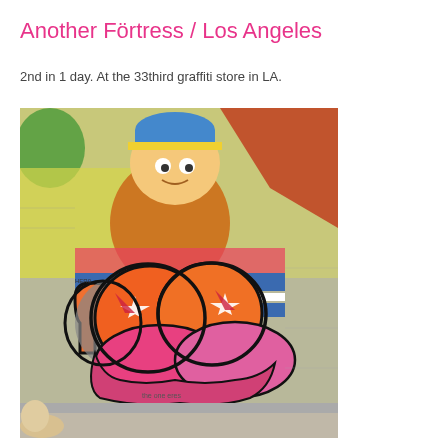Another Förtress / Los Angeles
2nd in 1 day. At the 33third graffiti store in LA.
[Figure (photo): Photograph of colorful graffiti art on a brick wall in Los Angeles. Features large orange and pink bubble letter graffiti in the lower half, and South Park character Cartman painted in the upper portion, along with other colorful street art tags and murals. A cat is visible at the bottom left.]